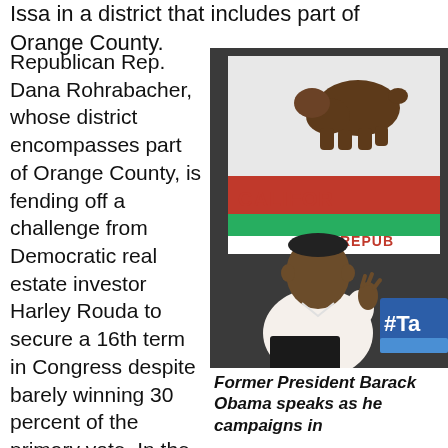Issa in a district that includes part of Orange County.
Republican Rep. Dana Rohrabacher, whose district encompasses part of Orange County, is fending off a challenge from Democratic real estate investor Harley Rouda to secure a 16th term in Congress despite barely winning 30 percent of the primary vote. In the other Orange County race, Gil Cisneros, a Democratic
[Figure (photo): Former President Barack Obama speaks at a campaign event in California, standing in front of a California state flag with a bear, in front of a sign reading #Ta[ke Back]]
Former President Barack Obama speaks as he campaigns in [part of California]